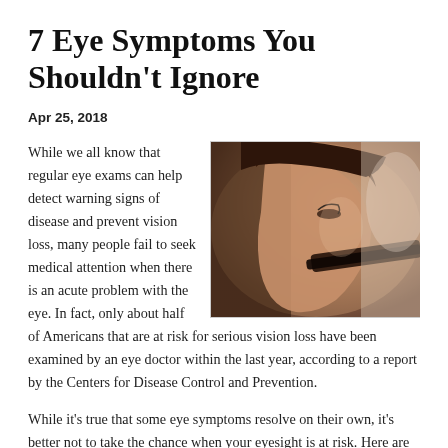7 Eye Symptoms You Shouldn't Ignore
Apr 25, 2018
[Figure (photo): Close-up side profile of a person looking downward, warm tones, shallow depth of field]
While we all know that regular eye exams can help detect warning signs of disease and prevent vision loss, many people fail to seek medical attention when there is an acute problem with the eye. In fact, only about half of Americans that are at risk for serious vision loss have been examined by an eye doctor within the last year, according to a report by the Centers for Disease Control and Prevention.
While it's true that some eye symptoms resolve on their own, it's better not to take the chance when your eyesight is at risk. Here are seven eye symptoms that should be checked out by an eye doctor immediately, as they could indicate serious underlying conditions that could be...